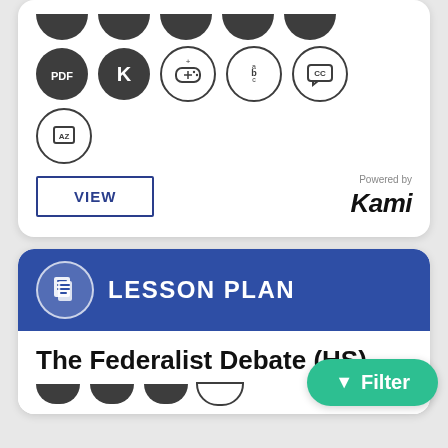[Figure (screenshot): App UI card with rows of circular icons (PDF, K, gamepad, abc, chat, AZ book), a VIEW button, and Powered by Kami branding]
[Figure (screenshot): Lesson Plan card with blue header, document icon, LESSON PLAN label, and title 'The Federalist Debate (HS)' with a green Filter button overlay and partial icon row at bottom]